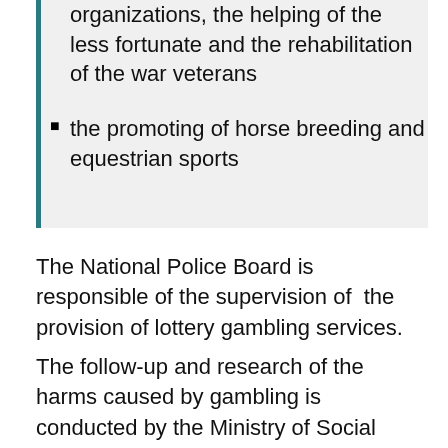organizations, the helping of the less fortunate and the rehabilitation of the war veterans
the promoting of horse breeding and equestrian sports
The National Police Board is responsible of the supervision of the provision of lottery gambling services.
The follow-up and research of the harms caused by gambling is conducted by the Ministry of Social Affairs and Health, who is also responsible for the prevention of these